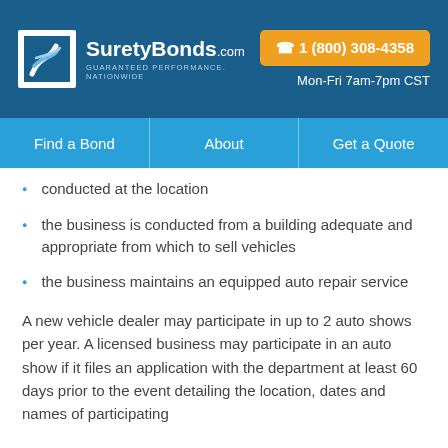[Figure (logo): SuretyBonds.com logo with S-shaped swoosh icon, brand name and tagline 'GUARANTEED PERFORMANCE. NATIONWIDE']
☎ 1 (800) 308-4358
Mon-Fri 7am-7pm CST
Find a Bond | About | Get a Quote
conducted at the location
the business is conducted from a building adequate and appropriate from which to sell vehicles
the business maintains an equipped auto repair service
A new vehicle dealer may participate in up to 2 auto shows per year. A licensed business may participate in an auto show if it files an application with the department at least 60 days prior to the event detailing the location, dates and names of participating